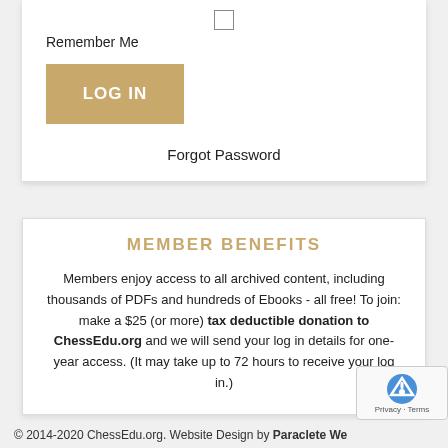[Figure (other): Checkbox input element (unchecked)]
Remember Me
LOG IN
Forgot Password
MEMBER BENEFITS
Members enjoy access to all archived content, including thousands of PDFs and hundreds of Ebooks - all free! To join: make a $25 (or more) tax deductible donation to ChessEdu.org and we will send your log in details for one-year access. (It may take up to 72 hours to receive your log in.)
© 2014-2020 ChessEdu.org. Website Design by Paraclete We...